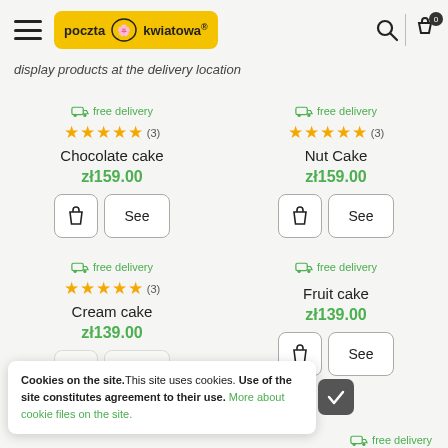poczta kwiatowa — navigation header with logo, search, and cart
display products at the delivery location
free delivery
★★★★★ (3)
Chocolate cake
zł159.00
free delivery
★★★★★ (3)
Nut Cake
zł159.00
free delivery
★★★★★ (3)
Cream cake
zł139.00
free delivery
Fruit cake
zł139.00
Cookies on the site. This site uses cookies. Use of the site constitutes agreement to their use. More about cookie files on the site.
free delivery